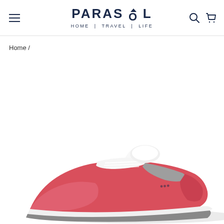PARASOL HOME | TRAVEL | LIFE
Home /
[Figure (photo): Pink and white sneaker/athletic shoe visible from the side, partially cropped at the bottom of the page]